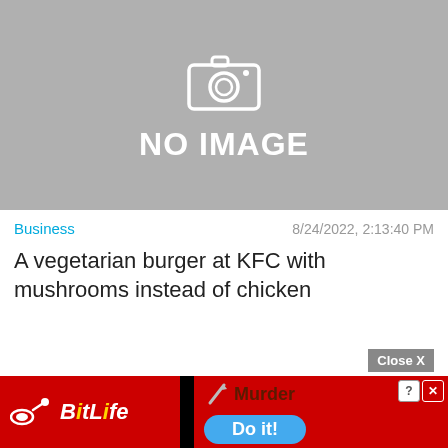[Figure (illustration): Gray placeholder image box with a camera icon and the text 'NO IMAGE']
Business	8/24/2022, 2:13:40 PM
A vegetarian burger at KFC with mushrooms instead of chicken
[Figure (screenshot): Advertisement banner for BitLife game showing 'Murder - Do it!' with a red background, sperm logo, and blue button]